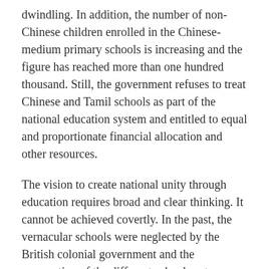dwindling. In addition, the number of non-Chinese children enrolled in the Chinese-medium primary schools is increasing and the figure has reached more than one hundred thousand. Still, the government refuses to treat Chinese and Tamil schools as part of the national education system and entitled to equal and proportionate financial allocation and other resources.
The vision to create national unity through education requires broad and clear thinking. It cannot be achieved covertly. In the past, the vernacular schools were neglected by the British colonial government and the segregation of the different school systems suited their divide and rule strategy. Despite the obstacles, the nation was united in demanding self-rule within a multiethnic political fabric. We achieved independence despite the trying moments and